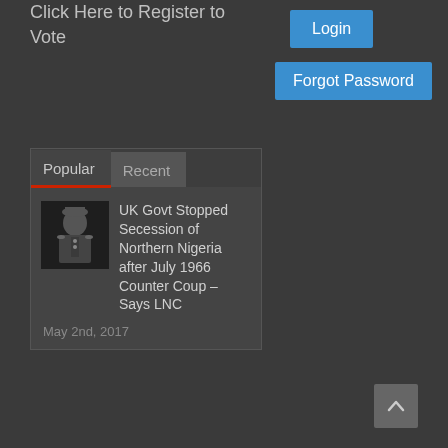Click Here to Register to Vote
Login
Forgot Password
Popular
Recent
[Figure (photo): Thumbnail photo of a military officer in uniform]
UK Govt Stopped Secession of Northern Nigeria after July 1966 Counter Coup – Says LNC
May 2nd, 2017